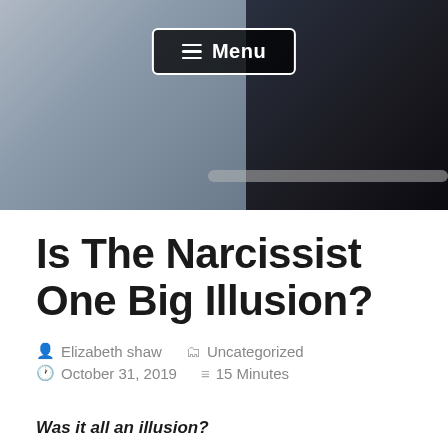[Figure (photo): Header hero photo showing a person on a dark background with grey/blue tones. A navigation menu button labeled 'Menu' with hamburger icon is overlaid at the top center.]
Is The Narcissist One Big Illusion?
Elizabeth shaw  Uncategorized  October 31, 2019  15 Minutes
Was it all an illusion?